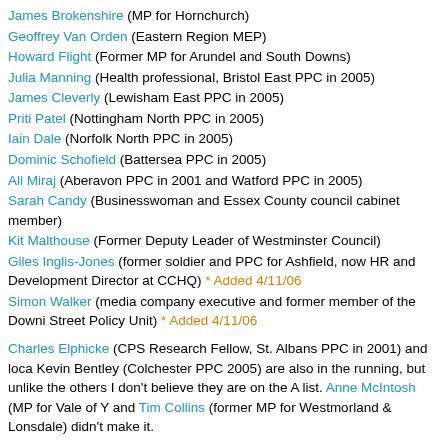James Brokenshire (MP for Hornchurch)
Geoffrey Van Orden (Eastern Region MEP)
Howard Flight (Former MP for Arundel and South Downs)
Julia Manning (Health professional, Bristol East PPC in 2005)
James Cleverly (Lewisham East PPC in 2005)
Priti Patel (Nottingham North PPC in 2005)
Iain Dale (Norfolk North PPC in 2005)
Dominic Schofield (Battersea PPC in 2005)
Ali Miraj (Aberavon PPC in 2001 and Watford PPC in 2005)
Sarah Candy (Businesswoman and Essex County council cabinet member)
Kit Malthouse (Former Deputy Leader of Westminster Council)
Giles Inglis-Jones (former soldier and PPC for Ashfield, now HR and Development Director at CCHQ) * Added 4/11/06
Simon Walker (media company executive and former member of the Downing Street Policy Unit) * Added 4/11/06
Charles Elphicke (CPS Research Fellow, St. Albans PPC in 2001) and local Kevin Bentley (Colchester PPC 2005) are also in the running, but unlike the others I don't believe they are on the A list. Anne McIntosh (MP for Vale of Y and Tim Collins (former MP for Westmorland & Lonsdale) didn't make it.
Update 7/11/06: The list has narrowed to seven...
James Brokenshire